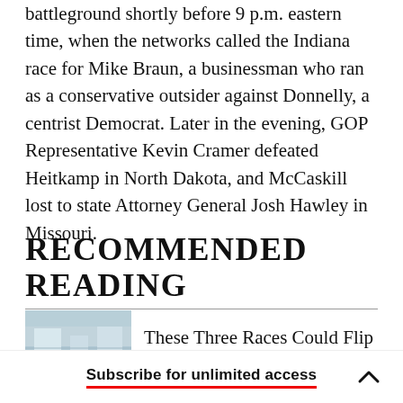battleground shortly before 9 p.m. eastern time, when the networks called the Indiana race for Mike Braun, a businessman who ran as a conservative outsider against Donnelly, a centrist Democrat. Later in the evening, GOP Representative Kevin Cramer defeated Heitkamp in North Dakota, and McCaskill lost to state Attorney General Josh Hawley in Missouri.
RECOMMENDED READING
[Figure (photo): Small thumbnail image of a building or landscape, light blue-grey tones]
These Three Races Could Flip the Senate
Subscribe for unlimited access